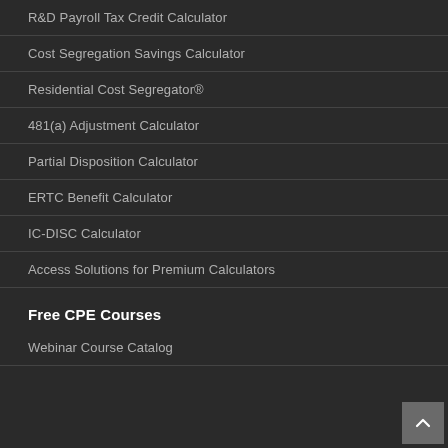R&D Payroll Tax Credit Calculator
Cost Segregation Savings Calculator
Residential Cost Segregator®
481(a) Adjustment Calculator
Partial Disposition Calculator
ERTC Benefit Calculator
IC-DISC Calculator
Access Solutions for Premium Calculators
Free CPE Courses
Webinar Course Catalog